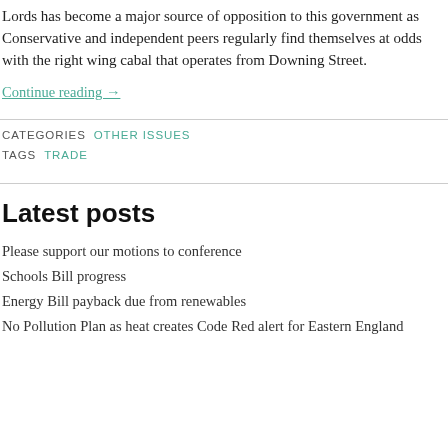Lords has become a major source of opposition to this government as Conservative and independent peers regularly find themselves at odds with the right wing cabal that operates from Downing Street.
Continue reading →
CATEGORIES  OTHER ISSUES
TAGS  TRADE
Latest posts
Please support our motions to conference
Schools Bill progress
Energy Bill payback due from renewables
No Pollution Plan as heat creates Code Red alert for Eastern England